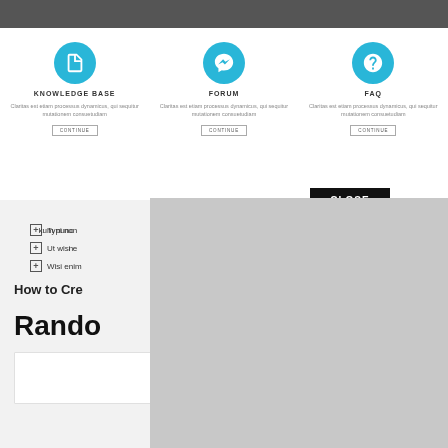[Figure (photo): Dark header image banner at top of page]
KNOWLEDGE BASE
Claritas est etiam processus dynamicus, qui sequitur mutationem consuetudiam
FORUM
Claritas est etiam processus dynamicus, qui sequitur mutationem consuetudiam
FAQ
Claritas est etiam processus dynamicus, qui sequitur mutationem consuetudiam
Typi non ... kum nunc
Ut wisi e... n
Wisi enim...
How to Cre...
Rando...
How To...
CLOSE